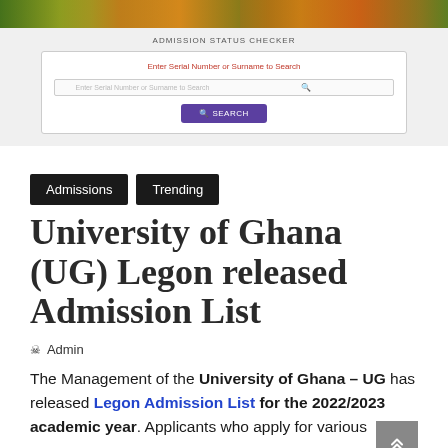[Figure (photo): Top banner image showing people outdoors with colorful background]
[Figure (screenshot): Admission Status Checker widget with search input and button]
Admissions
Trending
University of Ghana (UG) Legon released Admission List
Admin
The Management of the University of Ghana – UG has released Legon Admission List for the 2022/2023 academic year. Applicants who apply for various courses